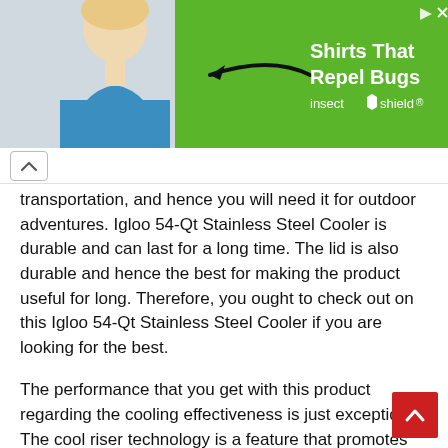[Figure (photo): Advertisement banner with green background, woman in blue shirt, arrow, text 'Shirts That Repel Bugs' and 'insect shield' brand logo]
transportation, and hence you will need it for outdoor adventures. Igloo 54-Qt Stainless Steel Cooler is durable and can last for a long time. The lid is also durable and hence the best for making the product useful for long. Therefore, you ought to check out on this Igloo 54-Qt Stainless Steel Cooler if you are looking for the best.
The performance that you get with this product regarding the cooling effectiveness is just exceptional. The cool riser technology is a feature that promotes the airflow underneath the product and hence making it suitable and effective cooler machine that you should get for your needs. The swing-up handles comfort grips, and bottle opener are just the features to highlight about this great cooler. Some other